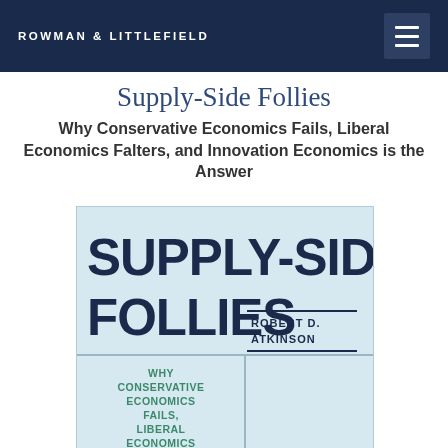ROWMAN & LITTLEFIELD
Supply-Side Follies
Why Conservative Economics Fails, Liberal Economics Falters, and Innovation Economics is the Answer
[Figure (illustration): Book cover of Supply-Side Follies by Robert D. Atkinson. Light blue cover with large dark navy bold text reading SUPPLY-SIDE FOLLIES, author name ROBERT D. ATKINSON on the right, and subtitle WHY CONSERVATIVE ECONOMICS FAILS, LIBERAL ECONOMICS [ECONOMICS] in green bold text at bottom left.]